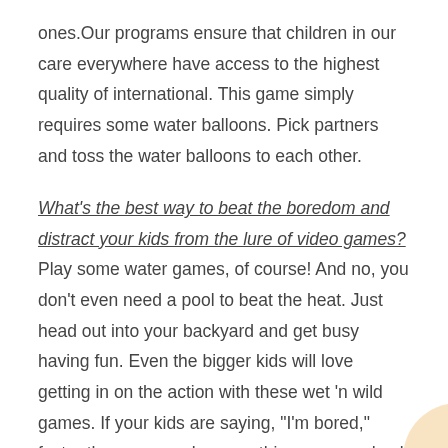ones.Our programs ensure that children in our care everywhere have access to the highest quality of international. This game simply requires some water balloons. Pick partners and toss the water balloons to each other.
What's the best way to beat the boredom and distract your kids from the lure of video games? Play some water games, of course! And no, you don't even need a pool to beat the heat. Just head out into your backyard and get busy having fun. Even the bigger kids will love getting in on the action with these wet 'n wild games. If your kids are saying, "I'm bored," faster than you can keep up this summer, check out these fun water games for every age 7-19.